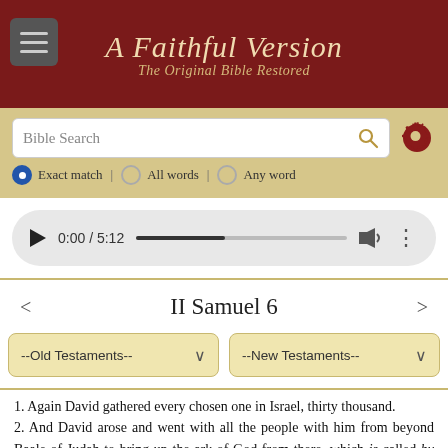A Faithful Version — The Original Bible Restored
[Figure (screenshot): Bible search interface with search box, radio buttons for Exact match, All words, Any word, audio player showing 0:00 / 5:12, chapter navigation for II Samuel 6, and dropdown menus for Old Testaments and New Testaments]
II Samuel 6
1. Again David gathered every chosen one in Israel, thirty thousand.
2. And David arose and went with all the people with him from beyond Baale of Judah to bring up the ark of God from there, which is called by the name, the name of the